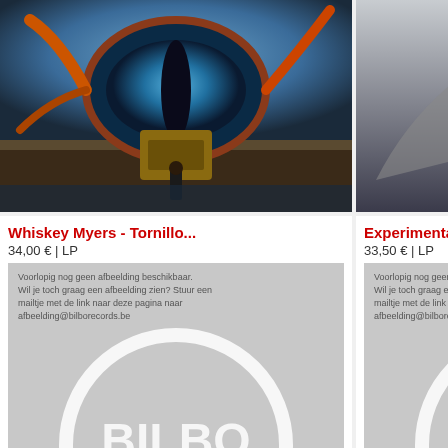[Figure (photo): Album cover art for Whiskey Myers - Tornillo, fantasy/epic landscape artwork]
[Figure (photo): Album cover art for Experimental Audio, dark icy monolith or dripping structure]
[Figure (photo): Album cover art for Gabbard, partially visible, pink/purple cosmic theme]
Whiskey Myers - Tornillo...
34,00 € | LP
[Figure (photo): Bilbo Records placeholder image with text: Voorlopig nog geen afbeelding beschikbaar. Wil je toch graag een afbeelding zien? Stuur een mailtje met de link naar deze pagina naar afbeelding@bilborecords.be]
Experimental Audio...
33,50 € | LP
[Figure (photo): Bilbo Records placeholder image with text: Voorlopig nog geen afbeelding beschikbaar. Wil je toch graag een afbeelding zien? Stuur een mailtje met de link naar deze pagina naar afbeelding@bilborecords.be]
Gabbard...
27,00 €
[Figure (photo): Bilbo Records placeholder image, partially visible]
31,50 € | LP
Ost - Raw (That Little...
30,00 € | LP
38,00 €